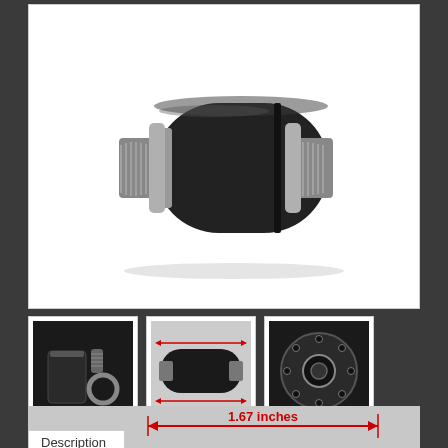[Figure (photo): Main product photo: a cylindrical black roller/adapter component with threaded silver metal ends on both sides, viewed from a slight angle on a white background.]
[Figure (photo): Thumbnail 1: disassembled parts of the component showing the black cylinder body and small metal parts on a dark background.]
[Figure (photo): Thumbnail 2: side view of the black cylinder with red dimension lines overlaid and small text 'Dead Weight 27.5 mm'.]
[Figure (photo): Thumbnail 3: end/front view of the black cylinder showing a circular pattern of holes and a central threaded bore.]
Description
[Figure (engineering-diagram): Partial measurement diagram showing a red double-headed arrow labeled '1.67 inches' indicating the width of the component, with red arrow lines on a light gray background. Bottom of the strip is cut off.]